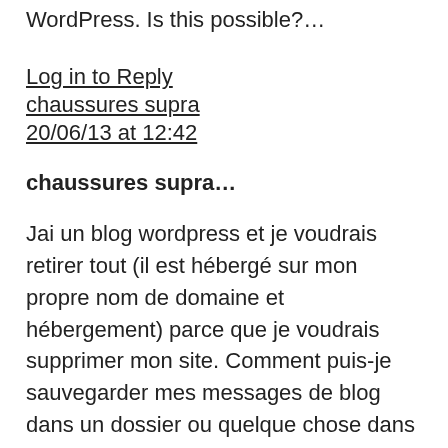WordPress. Is this possible?...
Log in to Reply
chaussures supra
20/06/13 at 12:42
chaussures supra...
Jai un blog wordpress et je voudrais retirer tout (il est hébergé sur mon propre nom de domaine et hébergement) parce que je voudrais supprimer mon site. Comment puis-je sauvegarder mes messages de blog dans un dossier ou quelque chose dans mes documen…
Log in to Reply
dog beds
20/06/13 at 16:09